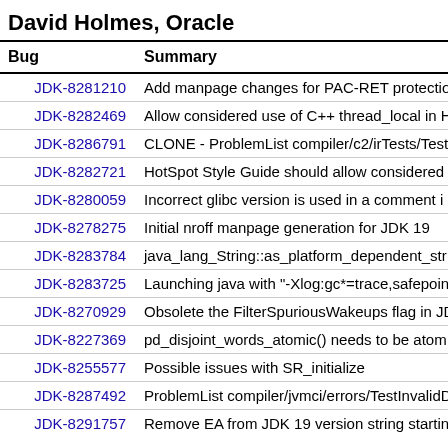David Holmes, Oracle
| Bug | Summary |
| --- | --- |
| JDK-8281210 | Add manpage changes for PAC-RET protectio... |
| JDK-8282469 | Allow considered use of C++ thread_local in H... |
| JDK-8286791 | CLONE - ProblemList compiler/c2/irTests/Test... |
| JDK-8282721 | HotSpot Style Guide should allow considered... |
| JDK-8280059 | Incorrect glibc version is used in a comment i... |
| JDK-8278275 | Initial nroff manpage generation for JDK 19 |
| JDK-8283784 | java_lang_String::as_platform_dependent_str... |
| JDK-8283725 | Launching java with "-Xlog:gc*=trace,safepoint... |
| JDK-8270929 | Obsolete the FilterSpuriousWakeups flag in JD... |
| JDK-8227369 | pd_disjoint_words_atomic() needs to be atom... |
| JDK-8255577 | Possible issues with SR_initialize |
| JDK-8287492 | ProblemList compiler/jvmci/errors/TestInvalidD... |
| JDK-8291757 | Remove EA from JDK 19 version string startin... |